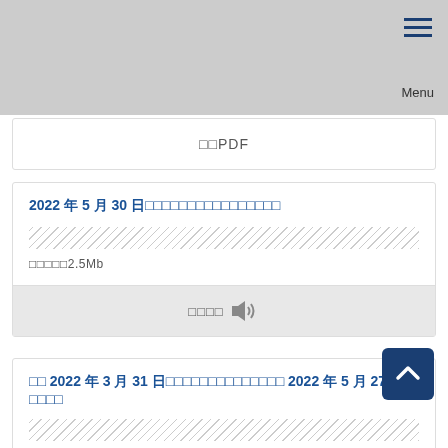Menu
□ PDF
2022 年 5 月 30 日□□□□□□□□□□□□□□□□
□□□□□2.5Mb
□□□□ (audio)
□□ 2022 年 3 月 31 日□□□□□□□□□□□□□□ 2022 年 5 月 27 日 □□□□
□□□□□6219kb
□□ PDF